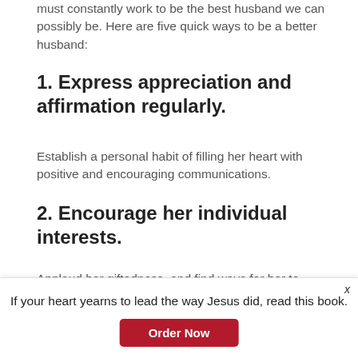must constantly work to be the best husband we can possibly be. Here are five quick ways to be a better husband:
1. Express appreciation and affirmation regularly.
Establish a personal habit of filling her heart with positive and encouraging communications.
2. Encourage her individual interests.
Applaud her giftedness, and find ways for her to develop and use her gifts for God.
3. Encourage her potential for
If your heart yearns to lead the way Jesus did, read this book.
Order Now